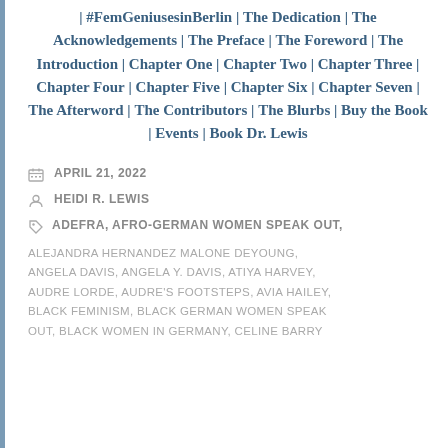| #FemGeniusesinBerlin | The Dedication | The Acknowledgements | The Preface | The Foreword | The Introduction | Chapter One | Chapter Two | Chapter Three | Chapter Four | Chapter Five | Chapter Six | Chapter Seven | The Afterword | The Contributors | The Blurbs | Buy the Book | Events | Book Dr. Lewis
APRIL 21, 2022
HEIDI R. LEWIS
ADEFRA, AFRO-GERMAN WOMEN SPEAK OUT, ALEJANDRA HERNANDEZ MALONE DEYOUNG, ANGELA DAVIS, ANGELA Y. DAVIS, ATIYA HARVEY, AUDRE LORDE, AUDRE'S FOOTSTEPS, AVIA HAILEY, BLACK FEMINISM, BLACK GERMAN WOMEN SPEAK OUT, BLACK WOMEN IN GERMANY, CELINE BARRY